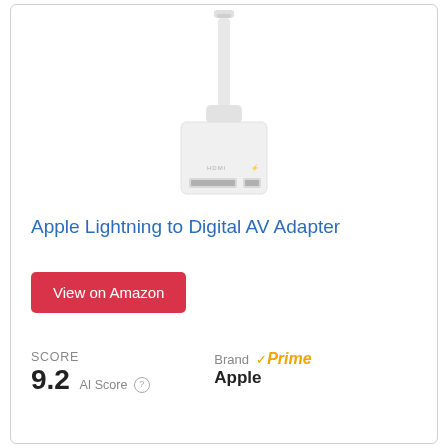[Figure (photo): Apple Lightning to Digital AV Adapter product photo showing white cable and white adapter box with HDMI/lightning ports on a white background]
Apple Lightning to Digital AV Adapter
View on Amazon
SCORE
9.2  AI Score
Brand
Apple
Prime